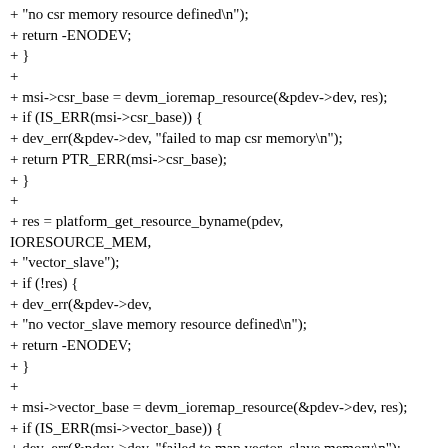+ "no csr memory resource defined\n");
+ return -ENODEV;
+ }
+
+ msi->csr_base = devm_ioremap_resource(&pdev->dev, res);
+ if (IS_ERR(msi->csr_base)) {
+ dev_err(&pdev->dev, "failed to map csr memory\n");
+ return PTR_ERR(msi->csr_base);
+ }
+
+ res = platform_get_resource_byname(pdev, IORESOURCE_MEM,
+ "vector_slave");
+ if (!res) {
+ dev_err(&pdev->dev,
+ "no vector_slave memory resource defined\n");
+ return -ENODEV;
+ }
+
+ msi->vector_base = devm_ioremap_resource(&pdev->dev, res);
+ if (IS_ERR(msi->vector_base)) {
+ dev_err(&pdev->dev, "failed to map vector_slave memory\n");
+ return PTR_ERR(msi->vector_base);
+ }
+
+ msi->vector_phy = res->start;